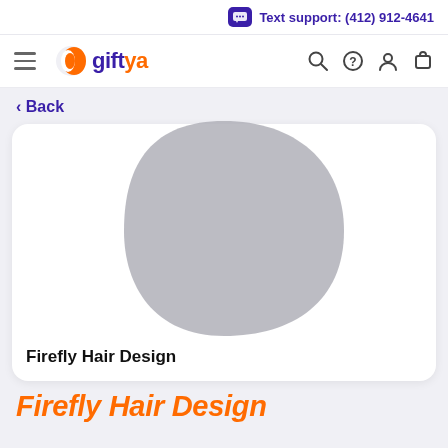Text support: (412) 912-4641
[Figure (logo): GiftYa logo with orange fish icon and purple/orange 'giftya' wordmark, plus navigation icons (hamburger, search, help, user, cart)]
< Back
[Figure (photo): Product card for Firefly Hair Design showing a gray placeholder image (teardrop/pebble shape) and the business name 'Firefly Hair Design']
Firefly Hair Design